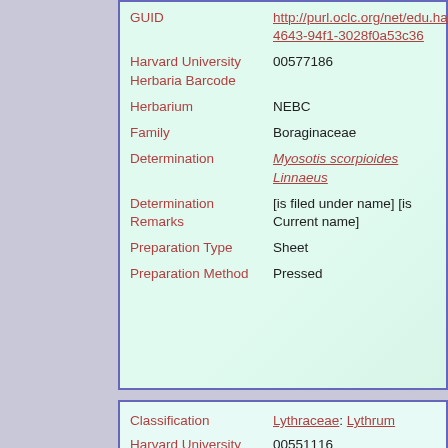| Field | Value |
| --- | --- |
| GUID | http://purl.oclc.org/net/edu.harvard.huh/guid/uuid/64e2ebc-4643-94f1-3028f0a53c36 |
| Harvard University Herbaria Barcode | 00577186 |
| Herbarium | NEBC |
| Family | Boraginaceae |
| Determination | Myosotis scorpioides Linnaeus |
| Determination Remarks | [is filed under name] [is Current name] |
| Preparation Type | Sheet |
| Preparation Method | Pressed |
| Field | Value |
| --- | --- |
| Classification | Lythraceae: Lythrum |
| Harvard University Herbaria Barcode(s) | 00551116 |